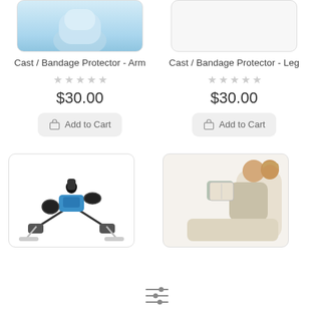[Figure (photo): Cast / Bandage Protector Arm product image - partial view showing blue/white protective cover]
[Figure (photo): Cast / Bandage Protector Leg product image - empty/white placeholder]
Cast / Bandage Protector - Arm
★★★★★ (empty stars rating)
$30.00
Add to Cart
Cast / Bandage Protector - Leg
★★★★★ (empty stars rating)
$30.00
Add to Cart
[Figure (photo): Pedal exerciser / mini exercise bike with digital display, black and blue]
[Figure (photo): Woman reclining in chair reading a book/newspaper]